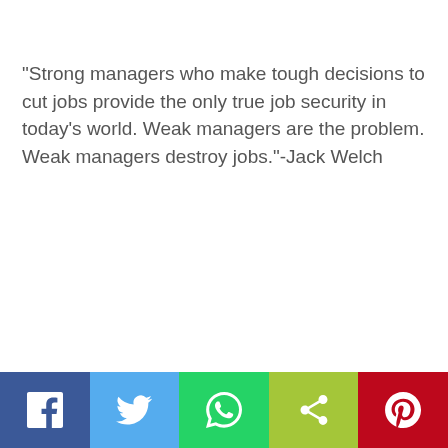“Strong managers who make tough decisions to cut jobs provide the only true job security in today’s world. Weak managers are the problem. Weak managers destroy jobs.”-Jack Welch
[Figure (infographic): Social media sharing bar with five buttons: Facebook (blue), Twitter (light blue), WhatsApp (green), Share (lime green), Pinterest (red), each with their respective icons in white.]